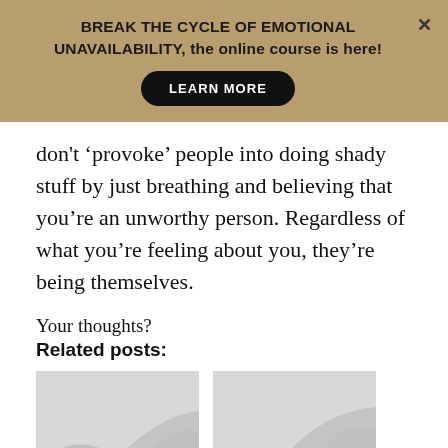BREAK THE CYCLE OF EMOTIONAL UNAVAILABILITY, the online course is here!
don't 'provoke' people into doing shady stuff by just breathing and believing that you're an unworthy person. Regardless of what you're feeling about you, they're being themselves.
Your thoughts?
Related posts:
[Figure (photo): Two placeholder image thumbnails for related posts]
[Figure (photo): Second placeholder image thumbnail for related posts]